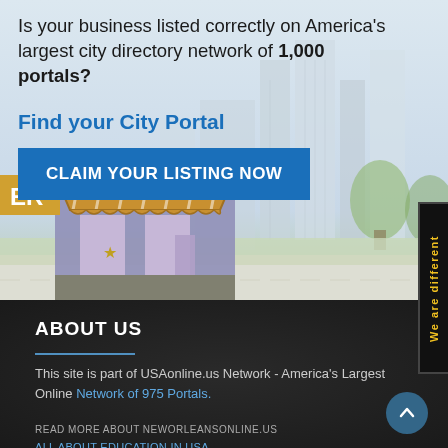[Figure (illustration): Banner section with city skyline illustration background showing buildings, trees, and a local business storefront with striped awning. Light blue/grey gradient background.]
Is your business listed correctly on America's largest city directory network of 1,000 portals?
Find your City Portal
CLAIM YOUR LISTING NOW
We are different
ABOUT US
This site is part of USAonline.us Network - America's Largest Online Network of 975 Portals.
READ MORE ABOUT NEWORLEANSONLINE.US
ALL ABOUT EDUCATION IN USA